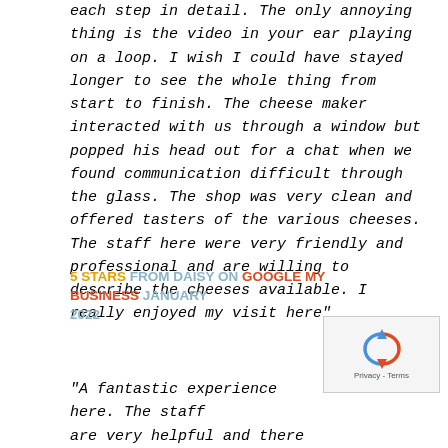each step in detail. The only annoying thing is the video in your ear playing on a loop. I wish I could have stayed longer to see the whole thing from start to finish. The cheese maker interacted with us through a window but popped his head out for a chat when we found communication difficult through the glass. The shop was very clean and offered tasters of the various cheeses. The staff here were very friendly and professional and are willing to describe the cheeses available. I really enjoyed my visit here"
5 STARS FROM DAISY ON GOOGLE MY BUSINESS JANUARY 2022
[Figure (other): reCAPTCHA widget with circular arrow icon and Privacy - Terms text]
"A fantastic experience here. The staff are very helpful and there are tasters to the